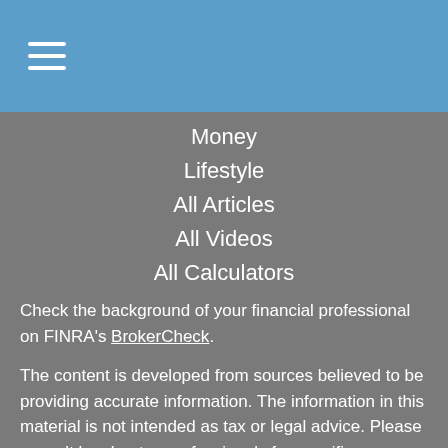[Figure (other): Hamburger menu icon with three horizontal white lines on blue background header bar]
Money
Lifestyle
All Articles
All Videos
All Calculators
All Presentations
Check the background of your financial professional on FINRA's BrokerCheck.
The content is developed from sources believed to be providing accurate information. The information in this material is not intended as tax or legal advice. Please consult legal or tax professionals for specific information regarding your individual situation. Some of this material was developed and produced by FMG Suite to provide information on a topic that may be of interest. FMG Suite